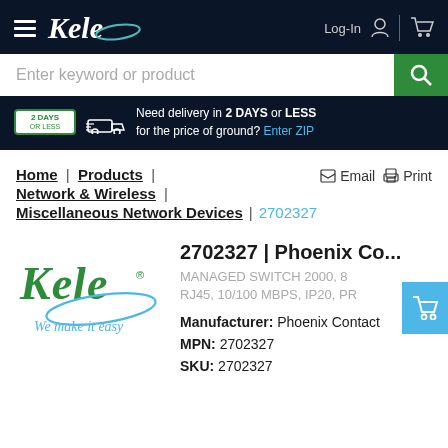Kele — Log-In | Cart
Enter keyword or product
Need delivery in 2 DAYS or LESS for the price of ground? Enter ZIP
Home | Products | Network & Wireless | Miscellaneous Network Devices | 2702327
Email  Print
2702327 | Phoenix Co...
MANAGED SWITCH 2000, 8 RJ45, 10/100 MBPS, IP20, PR
Manufacturer: Phoenix Contact
MPN: 2702327
SKU: 2702327